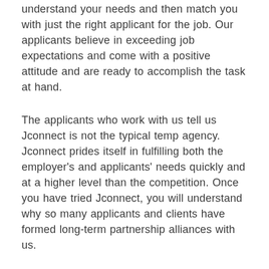understand your needs and then match you with just the right applicant for the job. Our applicants believe in exceeding job expectations and come with a positive attitude and are ready to accomplish the task at hand.
The applicants who work with us tell us Jconnect is not the typical temp agency. Jconnect prides itself in fulfilling both the employer's and applicants' needs quickly and at a higher level than the competition. Once you have tried Jconnect, you will understand why so many applicants and clients have formed long-term partnership alliances with us.